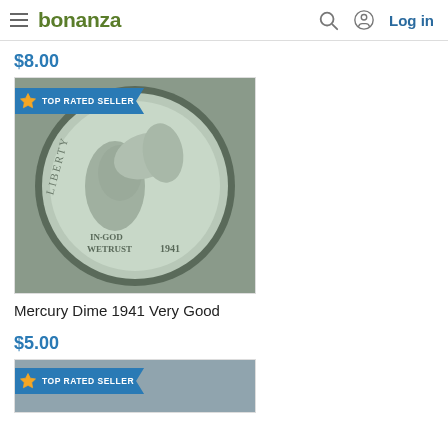bonanza — Log in
$8.00
[Figure (photo): Mercury Dime 1941 coin photo with TOP RATED SELLER badge]
Mercury Dime 1941 Very Good
$5.00
[Figure (photo): Partial product image with TOP RATED SELLER badge]